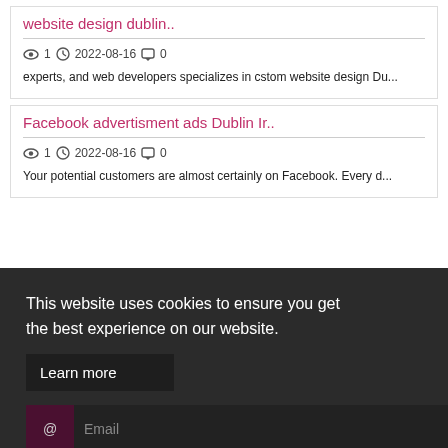website design dublin..
👁 1  🕐 2022-08-16  💬 0
experts, and web developers specializes in cstom website design Du...
Facebook advertisment ads Dublin Ir..
👁 1  🕐 2022-08-16  💬 0
Your potential customers are almost certainly on Facebook. Every d...
This website uses cookies to ensure you get the best experience on our website.
Learn more
Got it!
Login
Email
Password
Remember Me